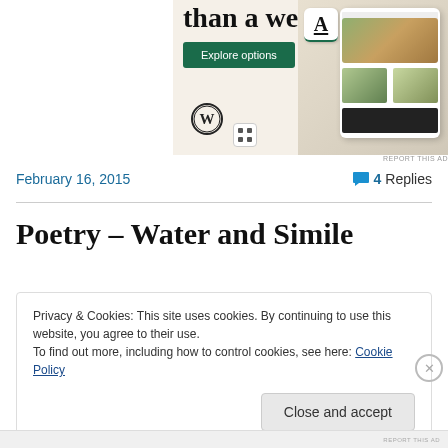[Figure (screenshot): WordPress/Squarespace advertisement banner showing food website mockup on mobile phone, with 'than a week' text, 'Explore options' green button, WordPress logo, and a phone screen showing food images]
February 16, 2015
4 Replies
Poetry – Water and Simile
Privacy & Cookies: This site uses cookies. By continuing to use this website, you agree to their use.
To find out more, including how to control cookies, see here: Cookie Policy
Close and accept